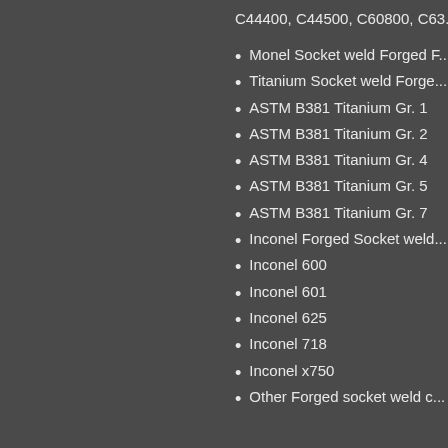C44400, C44500, C60800, C63...
Monel Socket weld Forged F...
Titanium Socket weld Forge...
ASTM B381 Titanium Gr. 1
ASTM B381 Titanium Gr. 2
ASTM B381 Titanium Gr. 4
ASTM B381 Titanium Gr. 5
ASTM B381 Titanium Gr. 7
Inconel Forged Socket weld...
Inconel 600
Inconel 601
Inconel 625
Inconel 718
Inconel x750
Other Forged socket weld c...